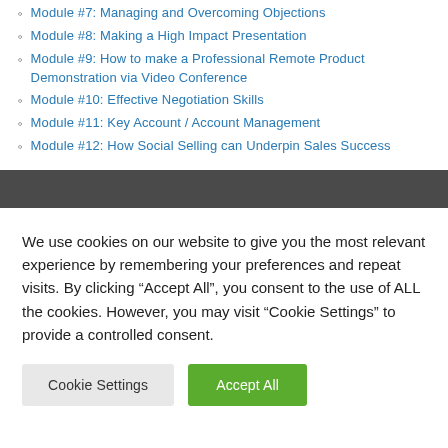Module #7: Managing and Overcoming Objections
Module #8: Making a High Impact Presentation
Module #9: How to make a Professional Remote Product Demonstration via Video Conference
Module #10: Effective Negotiation Skills
Module #11: Key Account / Account Management
Module #12: How Social Selling can Underpin Sales Success
We use cookies on our website to give you the most relevant experience by remembering your preferences and repeat visits. By clicking “Accept All”, you consent to the use of ALL the cookies. However, you may visit “Cookie Settings” to provide a controlled consent.
Cookie Settings | Accept All